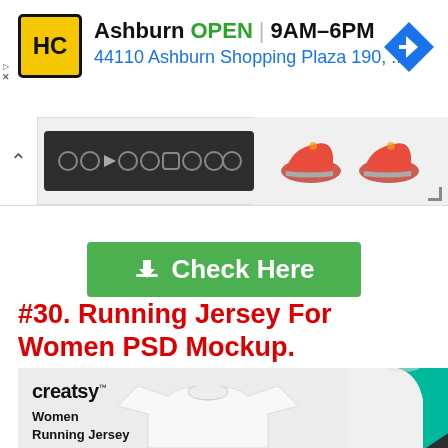[Figure (screenshot): Ad banner: HC logo, Ashburn OPEN 9AM-6PM, 44110 Ashburn Shopping Plaza 190, ... with blue navigation arrow icon]
[Figure (screenshot): Slideshow/carousel control bar with dark control panel and shoes visible on right]
[Figure (screenshot): Green 'Check Here' download button]
#30. Running Jersey For Women PSD Mockup.
[Figure (photo): Product image showing Creatsy branded running jersey mockup - left side shows white jersey on light background with 'Women Running Jersey' label, right side shows close-up of teal/green jersey on dark background]